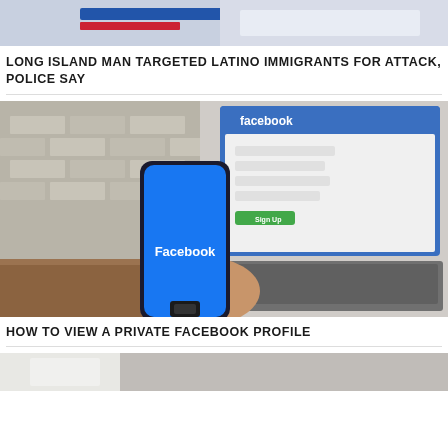[Figure (photo): Partial view of a news article image showing what appears to be a police or sports logo scene with blue, red and white colors]
LONG ISLAND MAN TARGETED LATINO IMMIGRANTS FOR ATTACK, POLICE SAY
[Figure (photo): Person holding a smartphone displaying the Facebook app logo, with a laptop showing Facebook's website (Create a new account page) in the background, and brick wall behind]
HOW TO VIEW A PRIVATE FACEBOOK PROFILE
[Figure (photo): Partial view of another article image, appears to show a book or document, cropped at bottom of page]